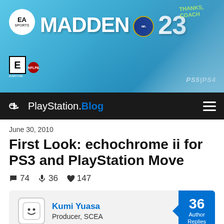[Figure (illustration): Madden NFL 23 advertisement banner featuring EA Sports logo, NFL shield, and John Madden celebrating with raised arm. Text reads MADDEN NFL 23 with THANKS, COACH annotation. PS5|PS4 platform labels visible. ESRB E rating shown.]
PlayStation.Blog
June 30, 2010
First Look: echochrome ii for PS3 and PlayStation Move
74 comments  36 microphone  147 likes
Kumi Yuasa  Producer, SCEA  36 Author Replies